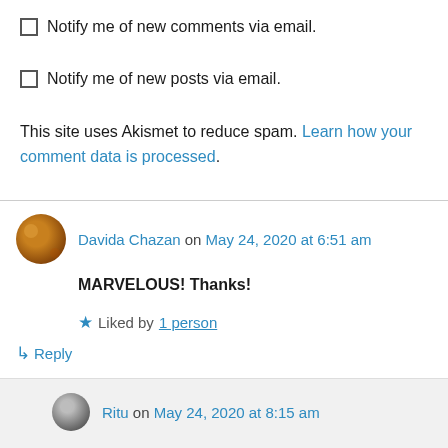Notify me of new comments via email.
Notify me of new posts via email.
This site uses Akismet to reduce spam. Learn how your comment data is processed.
Davida Chazan on May 24, 2020 at 6:51 am
MARVELOUS! Thanks!
Liked by 1 person
Reply
Ritu on May 24, 2020 at 8:15 am